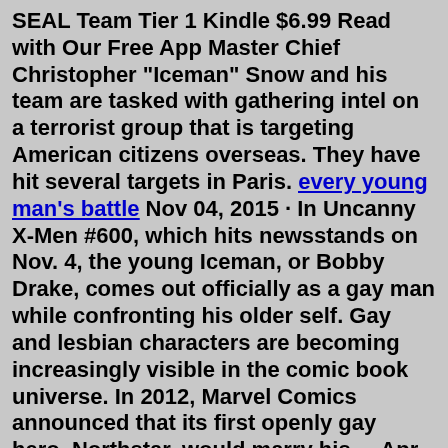SEAL Team Tier 1 Kindle $6.99 Read with Our Free App Master Chief Christopher "Iceman" Snow and his team are tasked with gathering intel on a terrorist group that is targeting American citizens overseas. They have hit several targets in Paris. every young man's battle Nov 04, 2015 · In Uncanny X-Men #600, which hits newsstands on Nov. 4, the young Iceman, or Bobby Drake, comes out officially as a gay man while confronting his older self. Gay and lesbian characters are becoming increasingly visible in the comic book universe. In 2012, Marvel Comics announced that its first openly gay hero, Northstar, would marry his ... Apr 28, 2009 · Philip Carlo's The Ice Man spent over six weeks on the New York Times Bestseller List. Top Mob Hitman. Devoted Family Man. Doting Father. For thirty years, Richard "The Iceman" Kuklinski led a shocking double life, becoming the most notorious professional assassin in American history while happily hosting neighborhood barbecues in suburban New Jersey. In Iceman Academy: Book 1, meet Conner, on the cusp of